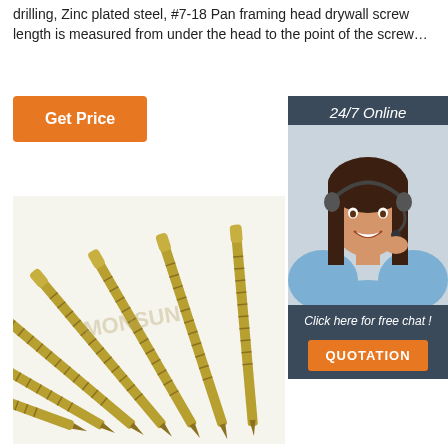drilling, Zinc plated steel, #7-18 Pan framing head drywall screw length is measured from under the head to the point of the screw…
Get Price
[Figure (photo): Customer service representative (woman with headset) with '24/7 Online' header, 'Click here for free chat!' text, and orange QUOTATION button on dark background]
[Figure (photo): Multiple gold/brass colored drywall screws fanned out on a white background, with watermark text MONSUN]